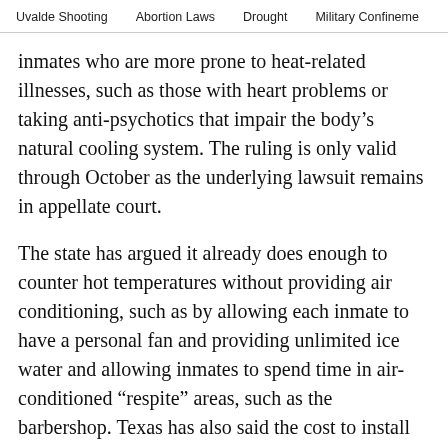Uvalde Shooting   Abortion Laws   Drought   Military Confinement
inmates who are more prone to heat-related illnesses, such as those with heart problems or taking anti-psychotics that impair the body's natural cooling system. The ruling is only valid through October as the underlying lawsuit remains in appellate court.
The state has argued it already does enough to counter hot temperatures without providing air conditioning, such as by allowing each inmate to have a personal fan and providing unlimited ice water and allowing inmates to spend time in air-conditioned “respite” areas, such as the barbershop. Texas has also said the cost to install air conditioning in the prison’s housing area would be an “undue burden” on the state, according to a court filing.
Ellison said other methods of heat relief could possibly work for healthy, young inmates, but not for all. He